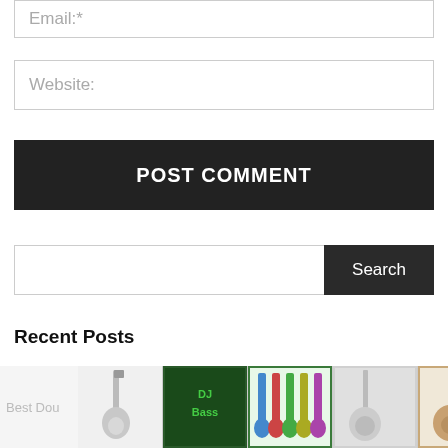Email:*
Website:
POST COMMENT
Search
Recent Posts
Best Double Bass Wheels and Buggies
Best Bass Guitar Picks
Best Dou
[Figure (screenshot): Advertisement bar with guitar images and icons at bottom of page]